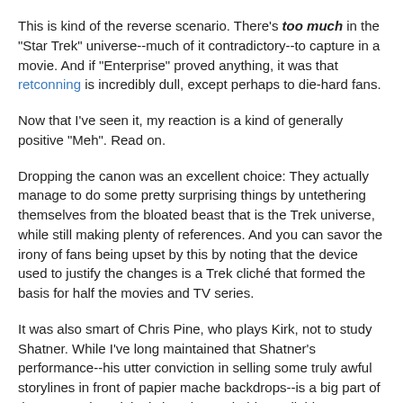This is kind of the reverse scenario. There's too much in the "Star Trek" universe--much of it contradictory--to capture in a movie. And if "Enterprise" proved anything, it was that retconning is incredibly dull, except perhaps to die-hard fans.
Now that I've seen it, my reaction is a kind of generally positive "Meh". Read on.
Dropping the canon was an excellent choice: They actually manage to do some pretty surprising things by untethering themselves from the bloated beast that is the Trek universe, while still making plenty of references. And you can savor the irony of fans being upset by this by noting that the device used to justify the changes is a Trek cliché that formed the basis for half the movies and TV series.
It was also smart of Chris Pine, who plays Kirk, not to study Shatner. While I've long maintained that Shatner's performance--his utter conviction in selling some truly awful storylines in front of papier mache backdrops--is a big part of the reason the original show is watchable at all, his performance style is too iconic to be imitated without creating